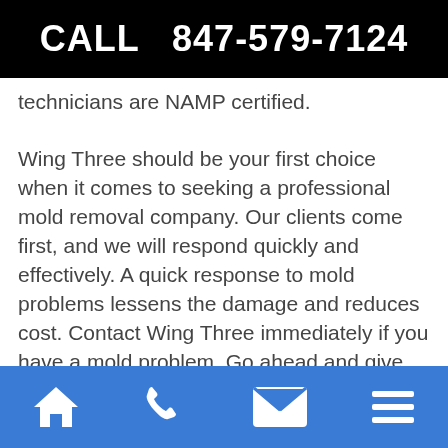CALL  847-579-7124
technicians are NAMP certified.

Wing Three should be your first choice when it comes to seeking a professional mold removal company. Our clients come first, and we will respond quickly and effectively. A quick response to mold problems lessens the damage and reduces cost. Contact Wing Three immediately if you have a mold problem. Go ahead and give Wing Three a call today to schedule a FREE
[Figure (infographic): Blue navigation bar with four white icons: home, phone, envelope/mail, and hamburger menu]